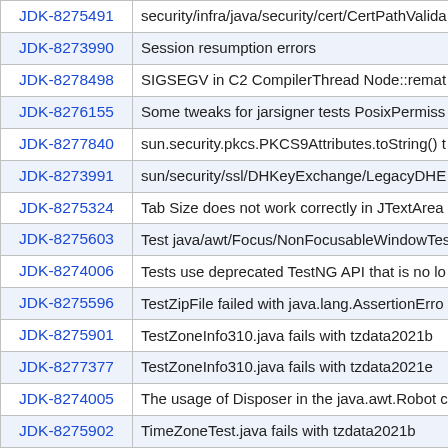| JDK ID | Description |
| --- | --- |
| JDK-8275491 | security/infra/java/security/cert/CertPathValida |
| JDK-8273990 | Session resumption errors |
| JDK-8278498 | SIGSEGV in C2 CompilerThread Node::remat |
| JDK-8276155 | Some tweaks for jarsigner tests PosixPermiss |
| JDK-8277840 | sun.security.pkcs.PKCS9Attributes.toString() t |
| JDK-8273991 | sun/security/ssl/DHKeyExchange/LegacyDHE |
| JDK-8275324 | Tab Size does not work correctly in JTextArea |
| JDK-8275603 | Test java/awt/Focus/NonFocusableWindowTes |
| JDK-8274006 | Tests use deprecated TestNG API that is no lo |
| JDK-8275596 | TestZipFile failed with java.lang.AssertionErro |
| JDK-8275901 | TestZoneInfo310.java fails with tzdata2021b |
| JDK-8277377 | TestZoneInfo310.java fails with tzdata2021e |
| JDK-8274005 | The usage of Disposer in the java.awt.Robot c |
| JDK-8275902 | TimeZoneTest.java fails with tzdata2021b |
| JDK-8275597 | typo in IllegalHandshakeMessage |